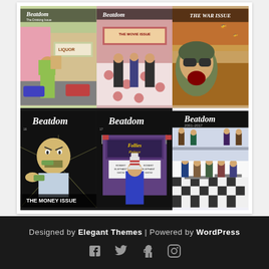[Figure (illustration): A 3x2 grid of Beatdom magazine covers. Top row: Issue with man carrying groceries near liquor store (The Drinking Issue); The Movie Issue with figures in cinema lobby; The War Issue with soldier and war scene. Bottom row: Issue 16 with angry man eating money (The Money Issue); Issue 17 with Uncle Sam figure at Follies Palace political show; Beatdom 2001-2017 anniversary issue with interior scene.]
Designed by Elegant Themes | Powered by WordPress